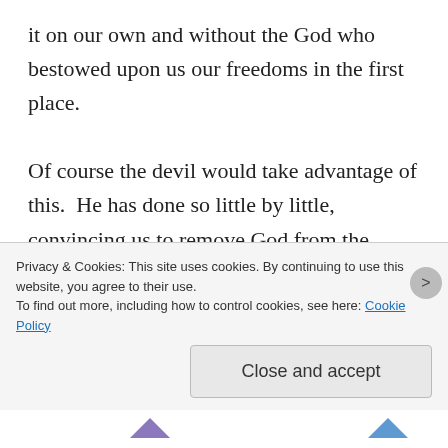it on our own and without the God who bestowed upon us our freedoms in the first place.

Of course the devil would take advantage of this.  He has done so little by little, convincing us to remove God from the public square in small doses.  What started as snowball removals, such as attempting to take God off the dollar bill and then successfully removing Him out of our schools, has avalanched to where we have became a nation under God in name only.  People are more divided than ever before.  We no longer see each other as children
Privacy & Cookies: This site uses cookies. By continuing to use this website, you agree to their use.
To find out more, including how to control cookies, see here: Cookie Policy
Close and accept